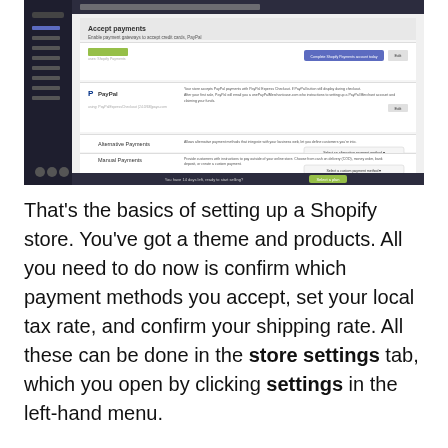[Figure (screenshot): Screenshot of Shopify admin payment settings page showing Shopify Payments, PayPal, Alternative Payments, and Manual Payments sections with a dark sidebar navigation.]
That's the basics of setting up a Shopify store. You've got a theme and products. All you need to do now is confirm which payment methods you accept, set your local tax rate, and confirm your shipping rate. All these can be done in the store settings tab, which you open by clicking settings in the left-hand menu.